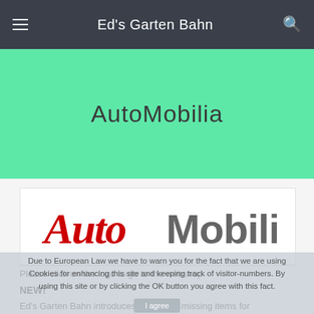Ed's Garten Bahn
AutoMobilia
[Figure (logo): AutoMobilia logo with 'Auto' in red italic script and 'Mobilia' in bold gray sans-serif]
Please click on the logo to go to the webshop
Due to European Law we have to warn you for the fact that we are using Cookies for enhancing this site and keeping track of visitor-numbers. By using this site or by clicking the OK button you agree with this fact.
NEW!
Ed's Garten Bahn introduces one of the missing items for